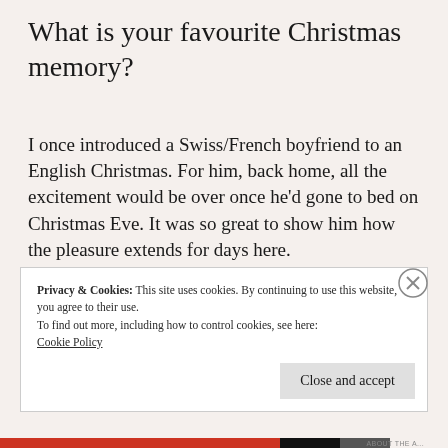What is your favourite Christmas memory?
I once introduced a Swiss/French boyfriend to an English Christmas. For him, back home, all the excitement would be over once he'd gone to bed on Christmas Eve. It was so great to show him how the pleasure extends for days here.
Privacy & Cookies: This site uses cookies. By continuing to use this website, you agree to their use. To find out more, including how to control cookies, see here: Cookie Policy
Close and accept